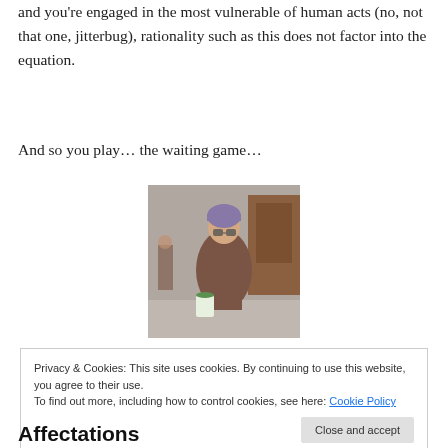and you're engaged in the most vulnerable of human acts (no, not that one, jitterbug), rationality such as this does not factor into the equation.
And so you play… the waiting game…
[Figure (photo): Person wearing a purple beanie hat, sunglasses, and a large brown knitted scarf with fringe, standing on a sidewalk holding a bag.]
Privacy & Cookies: This site uses cookies. By continuing to use this website, you agree to their use.
To find out more, including how to control cookies, see here: Cookie Policy
Affectations